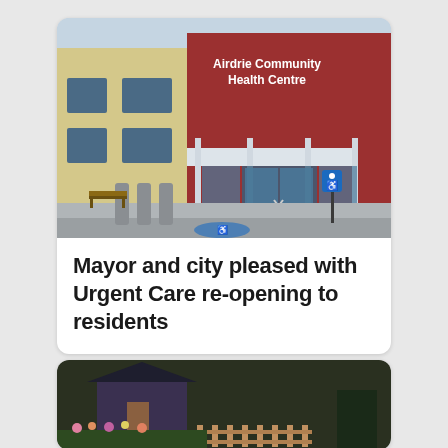[Figure (photo): Exterior photograph of the Airdrie Community Health Centre building, showing the red brick facade with white text sign reading 'Airdrie Community Health Centre', glass entrance doors, a yellow building section on the left, bollards, a bench, and a handicap parking symbol painted on the pavement in the foreground.]
Mayor and city pleased with Urgent Care re-opening to residents
[Figure (photo): Partially visible photograph at the bottom of the page showing a residential home exterior with garden beds containing flowers and small decorative fences, taken at dusk or evening.]